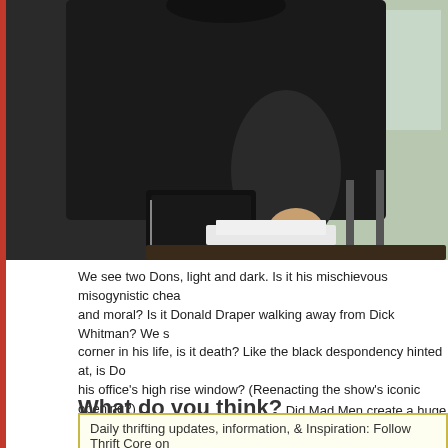[Figure (photo): A person wearing a dark sweater standing near a chair and window, photographed from behind/side angle. Papers and furniture visible in background.]
We see two Dons, light and dark. Is it his mischievous misogynistic chea and moral? Is it Donald Draper walking away from Dick Whitman? We s corner in his life, is it death? Like the black despondency hinted at, is D his office's high rise window? (Reenacting the show's iconic opening?) C conversation and dedicated viewers.  I'd watch this excellent program ev
What do you think? Did Mad Men create a huge surge in interes Does Mad Men make a difference in your sales? What did you think of S most?
Daily thrifting updates, information, & Inspiration: Follow Thrift Core on